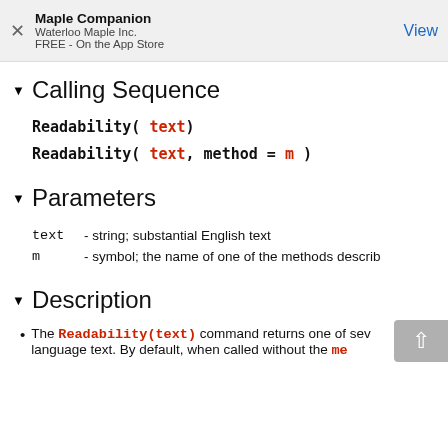Maple Companion
Waterloo Maple Inc.
FREE - On the App Store
View
Calling Sequence
Parameters
text  - string; substantial English text
m      - symbol; the name of one of the methods describ...
Description
The Readability(text) command returns one of sev... language text. By default, when called without the me...